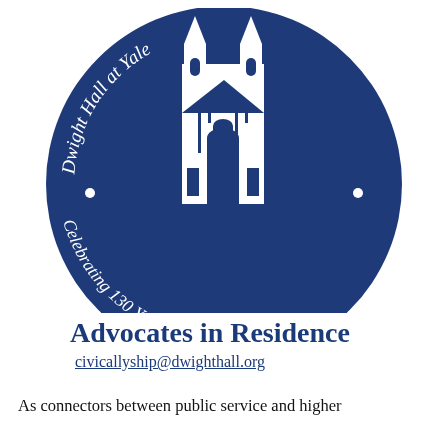[Figure (logo): Dwight Hall at Yale circular logo in dark navy blue, featuring a white Gothic building/tower in the center, with curved text reading 'Dwight Hall at Yale' along the top arc and '• Celebrating 130 Years of Service •' along the bottom arc. The logo is partially cropped at the top.]
Advocates in Residence
civicallyship@dwighthall.org
As connectors between public service and higher